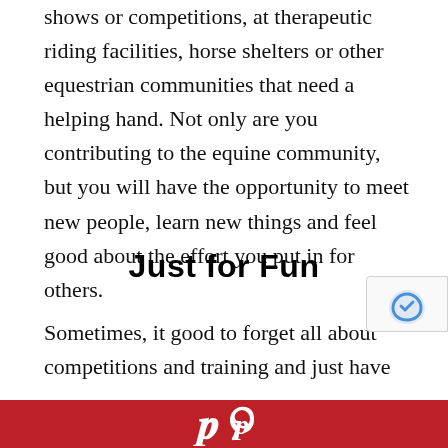shows or competitions, at therapeutic riding facilities, horse shelters or other equestrian communities that need a helping hand. Not only are you contributing to the equine community, but you will have the opportunity to meet new people, learn new things and feel good about the effort you put in for others.
Just for Fun
Sometimes, it good to forget all about competitions and training and just have some fun with horses...
[Figure (logo): Pinterest logo in white on red background bar at bottom of page]